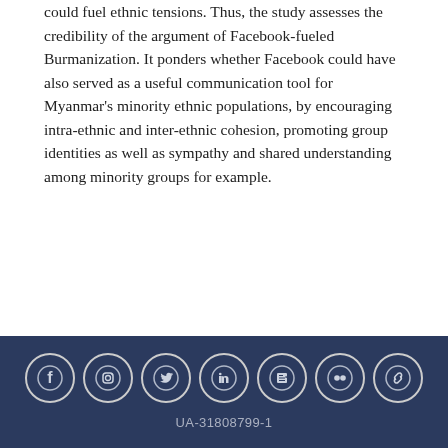could fuel ethnic tensions. Thus, the study assesses the credibility of the argument of Facebook-fueled Burmanization. It ponders whether Facebook could have also served as a useful communication tool for Myanmar's minority ethnic populations, by encouraging intra-ethnic and inter-ethnic cohesion, promoting group identities as well as sympathy and shared understanding among minority groups for example.
[Figure (other): Row of seven social media icon circles (Facebook, Instagram, Twitter, LinkedIn, Blogger, Flickr, Link/chain) on a dark navy footer bar]
UA-31808799-1